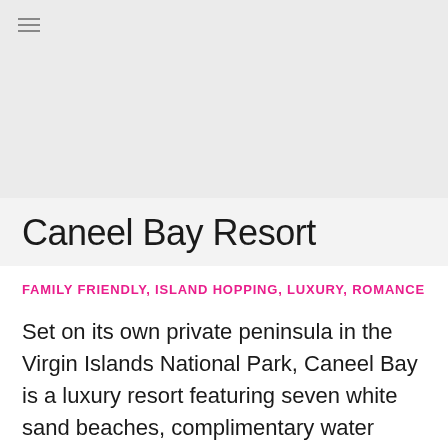[Figure (photo): Large image area placeholder with light gray background, hamburger menu icon in top-left corner]
Caneel Bay Resort
FAMILY FRIENDLY, ISLAND HOPPING, LUXURY, ROMANCE
Set on its own private peninsula in the Virgin Islands National Park, Caneel Bay is a luxury resort featuring seven white sand beaches, complimentary water sports, a fitness center and a pool …